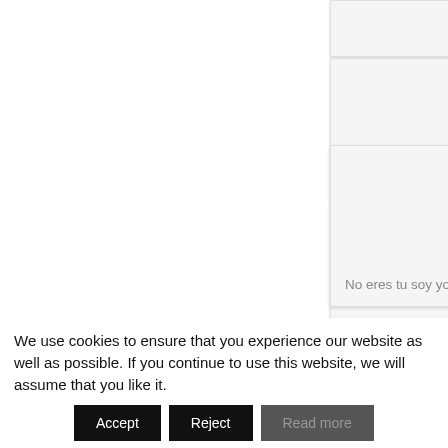[Figure (screenshot): Partial card/tile at top, clipped]
Mangore [ES] [2015]
Matar a Dios [ES] [2017]
No eres tu soy yo [ES] [2010]
[Figure (screenshot): Partial card at bottom, clipped]
We use cookies to ensure that you experience our website as well as possible. If you continue to use this website, we will assume that you like it.
Accept
Reject
Read more